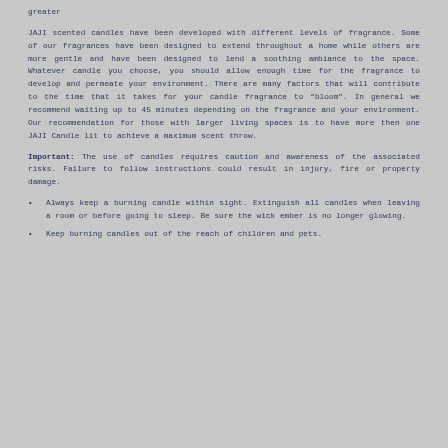greater
JAJI scented candles have been developed with different levels of fragrance. Some of our fragrances have been designed to extend throughout a home while others are more gentle and have been designed to lend a soothing ambiance to the space. Whatever candle you choose, you should allow enough time for the fragrance to develop and permeate your environment. There are many factors that will contribute to the time that it takes for your candle fragrance to “bloom”. In general we recommend waiting up to 45 minutes depending on the fragrance and your environment. Our recommendation for those with larger living spaces is to have more then one JAJI Candle lit to achieve a maximum scent throw.
Important: The use of candles requires caution and awareness of the associated risks. Failure to follow instructions could result in injury, fire or property damage.
Always keep a burning candle within sight. Extinguish all candles when leaving a room or before going to sleep. Be sure the wick ember is no longer glowing.
Keep burning candles out of the reach of children and pets.